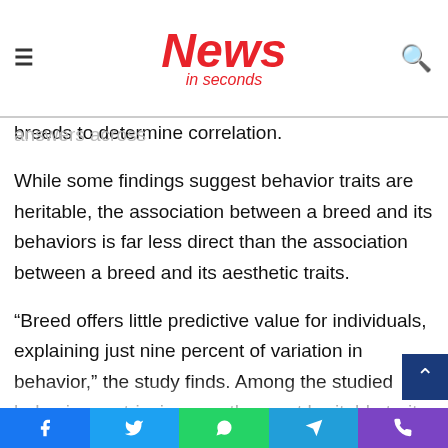News in seconds
motor skills, and uses multiple questions in each category to gauge depth of understanding around the behaviors. It then compares those ranked answers across breeds to determine correlation.
While some findings suggest behavior traits are heritable, the association between a breed and its behaviors is far less direct than the association between a breed and its aesthetic traits.
“Breed offers little predictive value for individuals, explaining just nine percent of variation in behavior,” the study finds. Among the studied behaviors, retrieving was the most heritable trait, but even then, the ability for genetics to predict that behavior in an individual dog was five times lower than their ability to predict aesthetic traits.
Facebook  Twitter  WhatsApp  Telegram  Phone